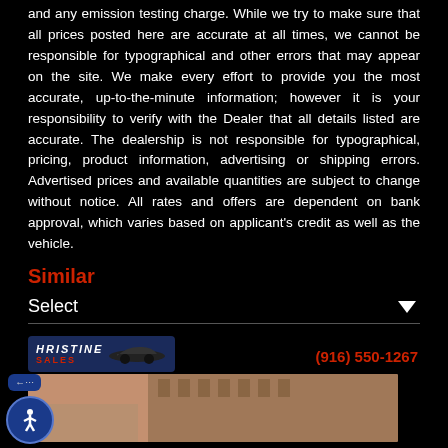and any emission testing charge. While we try to make sure that all prices posted here are accurate at all times, we cannot be responsible for typographical and other errors that may appear on the site. We make every effort to provide you the most accurate, up-to-the-minute information; however it is your responsibility to verify with the Dealer that all details listed are accurate. The dealership is not responsible for typographical, pricing, product information, advertising or shipping errors. Advertised prices and available quantities are subject to change without notice. All rates and offers are dependent on bank approval, which varies based on applicant's credit as well as the vehicle.
Similar
Select
[Figure (screenshot): Dealership card showing Christine Sales logo with a sports car silhouette, phone number (916) 550-1267 in red, and a building/dealership exterior photo below.]